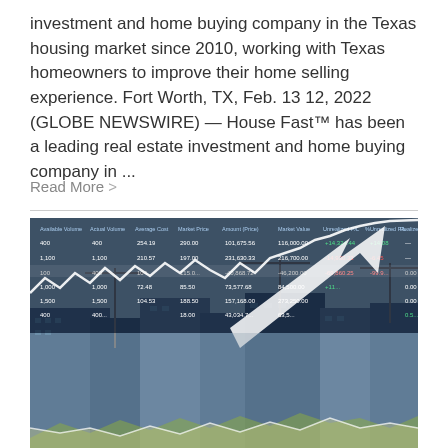investment and home buying company in the Texas housing market since 2010, working with Texas homeowners to improve their home selling experience. Fort Worth, TX, Feb. 13 12, 2022 (GLOBE NEWSWIRE) — House Fast™ has been a leading real estate investment and home buying company in ...
Read More >
[Figure (photo): Composite image of a financial data table with stock market figures overlaid on a photo of buildings under construction with cranes, plus an upward-trending white arrow chart and area chart overlays.]